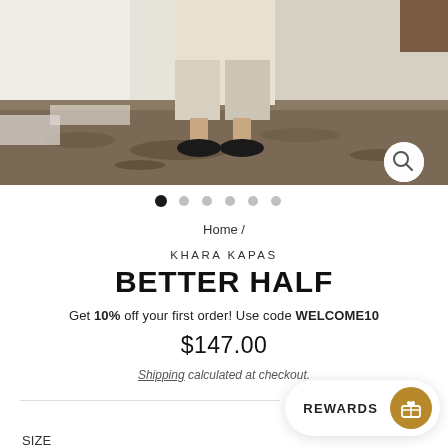[Figure (photo): Fashion product photo showing lower half of a person wearing wide-leg cream/beige trousers and black flat shoes, standing on rocky shore with white fabric. Carousel dots below image.]
Home /
KHARA KAPAS
BETTER HALF
Get 10% off your first order! Use code WELCOME10
$147.00
Shipping calculated at checkout.
REWARDS
SIZE